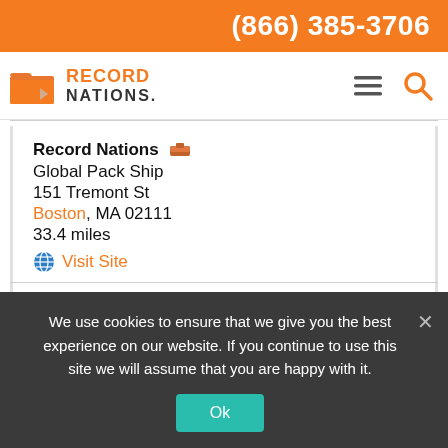(866) 385-3706
[Figure (logo): Record Nations logo with orange folder icon and text RECORD NATIONS]
Record Nations
Global Pack Ship
151 Tremont St
Boston, MA 02111
33.4 miles
Visit Site
Record Nations
ARC Cranston
We use cookies to ensure that we give you the best experience on our website. If you continue to use this site we will assume that you are happy with it.